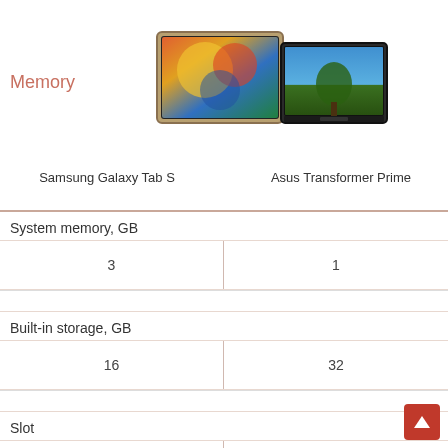Memory
[Figure (photo): Samsung Galaxy Tab S tablet image]
[Figure (photo): Asus Transformer Prime tablet image]
|  | Samsung Galaxy Tab S | Asus Transformer Prime |
| --- | --- | --- |
| System memory, GB |  |  |
|  | 3 | 1 |
| Built-in storage, GB |  |  |
|  | 16 | 32 |
| Slot |  |  |
|  | micro SD | micro SD |
| Storage expansion |  |  |
|  | up to 256 GB | up to 32 GB |